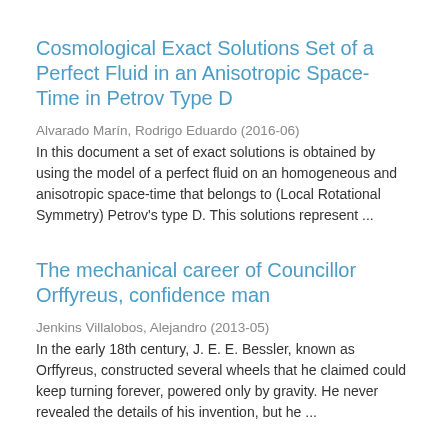Cosmological Exact Solutions Set of a Perfect Fluid in an Anisotropic Space-Time in Petrov Type D
Alvarado Marín, Rodrigo Eduardo (2016-06)
In this document a set of exact solutions is obtained by using the model of a perfect fluid on an homogeneous and anisotropic space-time that belongs to (Local Rotational Symmetry) Petrov's type D. This solutions represent ...
The mechanical career of Councillor Orffyreus, confidence man
Jenkins Villalobos, Alejandro (2013-05)
In the early 18th century, J. E. E. Bessler, known as Orffyreus, constructed several wheels that he claimed could keep turning forever, powered only by gravity. He never revealed the details of his invention, but he ...